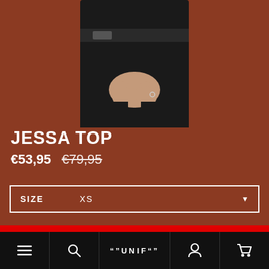[Figure (photo): Product photo of a model wearing a dark top (Jessa Top) against a terracotta/rust brown background. The photo shows the torso and hands of the model, wearing black high-waisted pants with a buckle belt.]
JESSA TOP
€53,95  €79,95
SIZE   XS
Like Flash Sales + Early Access to the Latest Drops?
→ Download our app now!
≡  🔍  ""UNIF""  👤  🛒